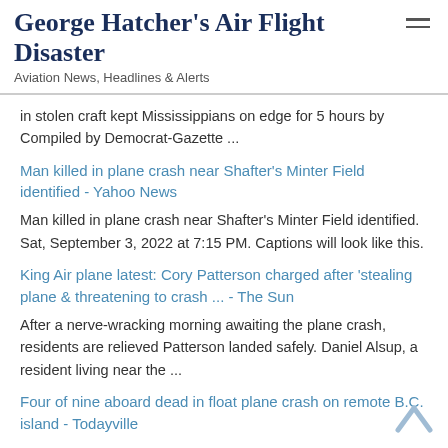George Hatcher's Air Flight Disaster
Aviation News, Headlines & Alerts
in stolen craft kept Mississippians on edge for 5 hours by Compiled by Democrat-Gazette ...
Man killed in plane crash near Shafter's Minter Field identified - Yahoo News
Man killed in plane crash near Shafter's Minter Field identified. Sat, September 3, 2022 at 7:15 PM. Captions will look like this.
King Air plane latest: Cory Patterson charged after 'stealing plane & threatening to crash ... - The Sun
After a nerve-wracking morning awaiting the plane crash, residents are relieved Patterson landed safely. Daniel Alsup, a resident living near the ...
Four of nine aboard dead in float plane crash on remote B.C. island - Todayville